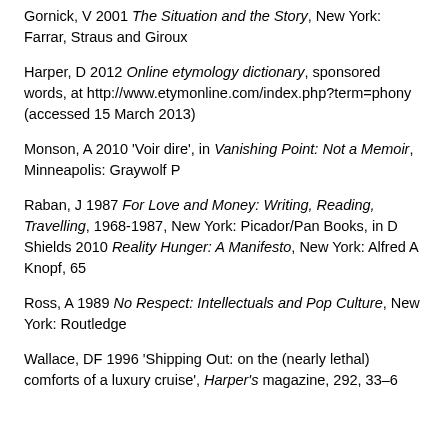Gornick, V 2001 The Situation and the Story, New York: Farrar, Straus and Giroux
Harper, D 2012 Online etymology dictionary, sponsored words, at http://www.etymonline.com/index.php?term=phony (accessed 15 March 2013)
Monson, A 2010 'Voir dire', in Vanishing Point: Not a Memoir, Minneapolis: Graywolf P
Raban, J 1987 For Love and Money: Writing, Reading, Travelling, 1968-1987, New York: Picador/Pan Books, in D Shields 2010 Reality Hunger: A Manifesto, New York: Alfred A Knopf, 65
Ross, A 1989 No Respect: Intellectuals and Pop Culture, New York: Routledge
Wallace, DF 1996 'Shipping Out: on the (nearly lethal) comforts of a luxury cruise', Harper's magazine, 292, 33–6